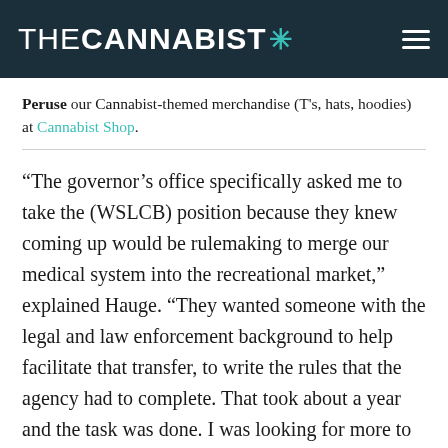THE CANNABIST
Peruse our Cannabist-themed merchandise (T's, hats, hoodies) at Cannabist Shop.
“The governor’s office specifically asked me to take the (WSLCB) position because they knew coming up would be rulemaking to merge our medical system into the recreational market,” explained Hauge. “They wanted someone with the legal and law enforcement background to help facilitate that transfer, to write the rules that the agency had to complete. That took about a year and the task was done. I was looking for more to do.”
Under the new rules that went into effect July 1, unlicensed medical marijuana dispensaries and collective gardens were required to have a WSLCB-approved recreational license or face legal action if